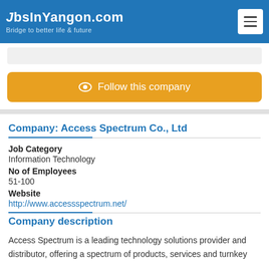JobsInYangon.com — Bridge to better life & future
Follow this company
Company: Access Spectrum Co., Ltd
Job Category
Information Technology
No of Employees
51-100
Website
http://www.accessspectrum.net/
Company description
Access Spectrum is a leading technology solutions provider and distributor, offering a spectrum of products, services and turnkey